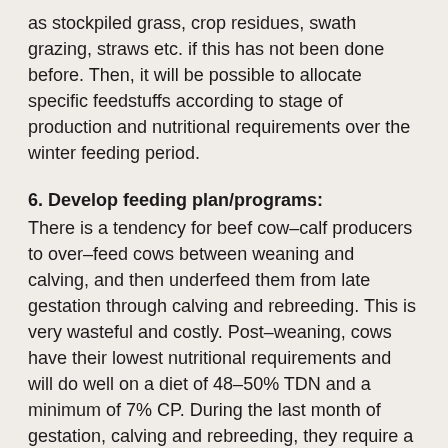as stockpiled grass, crop residues, swath grazing, straws etc. if this has not been done before. Then, it will be possible to allocate specific feedstuffs according to stage of production and nutritional requirements over the winter feeding period.
6. Develop feeding plan/programs:
There is a tendency for beef cow–calf producers to over–feed cows between weaning and calving, and then underfeed them from late gestation through calving and rebreeding. This is very wasteful and costly. Post–weaning, cows have their lowest nutritional requirements and will do well on a diet of 48–50% TDN and a minimum of 7% CP. During the last month of gestation, calving and rebreeding, they require a diet with 60–62% TDN and a minimum of 10% CP to be healthy and productive. This is a substantial difference in feed quality that requires planning to determine how it is to be achieved with the resources at hand, and to prevent over–feeding and fattening of the cows during the "dry" period. If higher quality feeds than required are available, they can be limit fed to save feed and cost, or diluted with lower quality purchased feeds if economical sources are available. Your local feed supplier or government extension agent may be